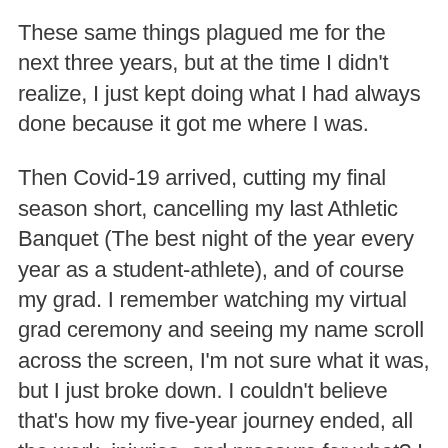These same things plagued me for the next three years, but at the time I didn't realize, I just kept doing what I had always done because it got me where I was.
Then Covid-19 arrived, cutting my final season short, cancelling my last Athletic Banquet (The best night of the year every year as a student-athlete), and of course my grad. I remember watching my virtual grad ceremony and seeing my name scroll across the screen, I'm not sure what it was, but I just broke down. I couldn't believe that's how my five-year journey ended, all the work, injuries, and pressure for what? I felt like a loser, I felt like I put myself through so much for nothing.